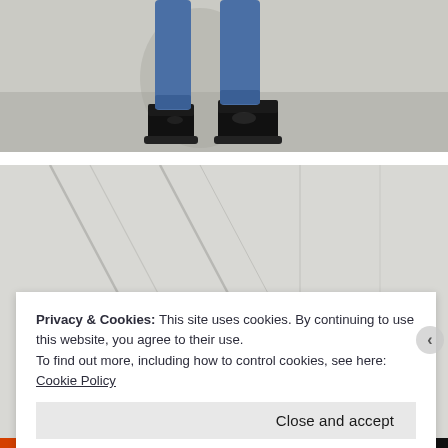[Figure (photo): Lower legs of a person wearing blue skinny jeans and black chelsea boots, standing against a white painted brick wall on a grey concrete floor. Shadow visible on the wall.]
[Figure (photo): A person walking on a light grey floor with diagonal lines/markings, seen from above. The top of the person's dark hair is visible at the bottom of the frame.]
Privacy & Cookies: This site uses cookies. By continuing to use this website, you agree to their use.
To find out more, including how to control cookies, see here: Cookie Policy
Close and accept